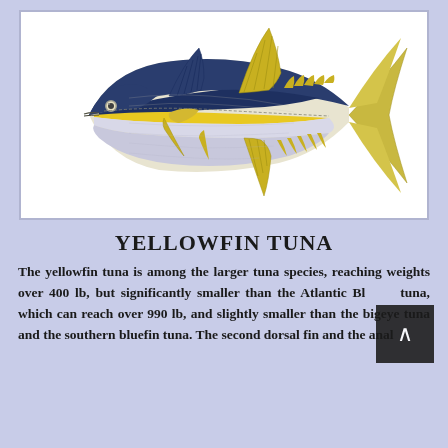[Figure (illustration): Illustration of a yellowfin tuna fish showing its characteristic blue-black back, yellow stripe along the side, yellow finlets, and elongated yellow dorsal and anal fins against a white background.]
YELLOWFIN TUNA
The yellowfin tuna is among the larger tuna species, reaching weights over 400 lb, but significantly smaller than the Atlantic Bluefin tuna, which can reach over 990 lb, and slightly smaller than the bigeye tuna and the southern bluefin tuna. The second dorsal fin and the anal fin...